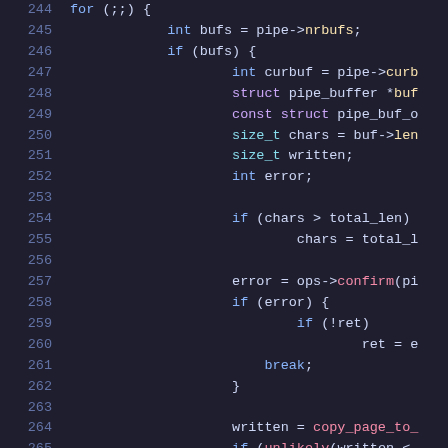[Figure (screenshot): Source code snippet showing C kernel pipe code, lines 244-265, with syntax highlighting on a dark background. Keywords in blue, types in cyan, identifiers in green/yellow, function calls in red/pink.]